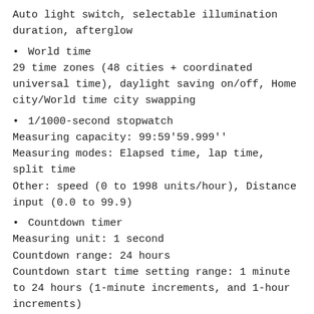Auto light switch, selectable illumination duration, afterglow
World time
29 time zones (48 cities + coordinated universal time), daylight saving on/off, Home city/World time city swapping
1/1000-second stopwatch
Measuring capacity: 99:59'59.999''
Measuring modes: Elapsed time, lap time, split time
Other: speed (0 to 1998 units/hour), Distance input (0.0 to 99.9)
Countdown timer
Measuring unit: 1 second
Countdown range: 24 hours
Countdown start time setting range: 1 minute to 24 hours (1-minute increments, and 1-hour increments)
Other: Auto-repeat